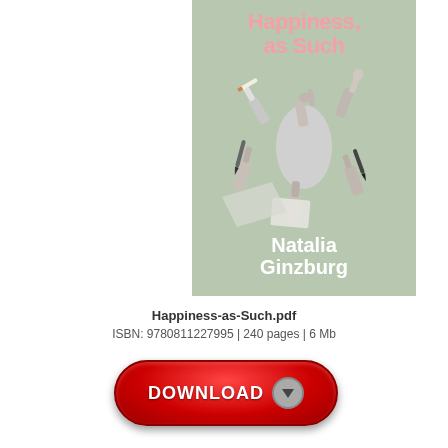[Figure (illustration): Book cover for 'Happiness, as Such' by Natalia Ginzburg. Sage green background with pink bold title text at top, collage of black-and-white hands holding pens, cigarettes, and papers in the center, and white bold author name at the bottom.]
Happiness-as-Such.pdf
ISBN: 9780811227995 | 240 pages | 6 Mb
[Figure (other): Red pill-shaped download button with white bold text 'DOWNLOAD' and a grey circular arrow icon pointing downward on the right side.]